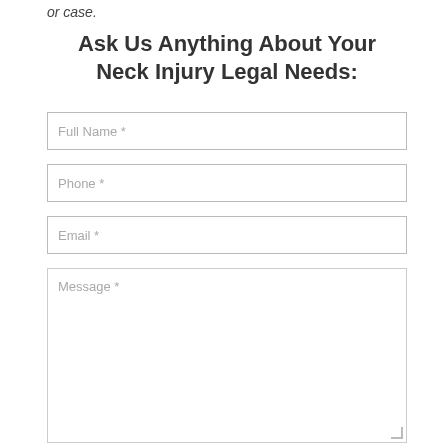or case.
Ask Us Anything About Your Neck Injury Legal Needs:
Full Name *
Phone *
Email *
Message *